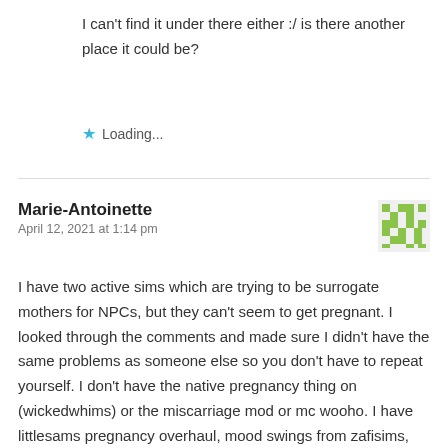I can't find it under there either :/ is there another place it could be?
★ Loading...
Marie-Antoinette
April 12, 2021 at 1:14 pm
I have two active sims which are trying to be surrogate mothers for NPCs, but they can't seem to get pregnant. I looked through the comments and made sure I didn't have the same problems as someone else so you don't have to repeat yourself. I don't have the native pregnancy thing on (wickedwhims) or the miscarriage mod or mc wooho. I have littlesams pregnancy overhaul, mood swings from zafisims, scumbumbo